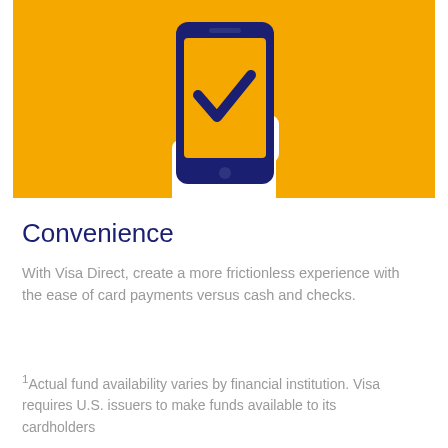[Figure (illustration): Orange/yellow background illustration of a hand holding a smartphone with a blue checkmark on the screen, representing mobile payment confirmation.]
Convenience
With Visa Direct, create a more frictionless experience with the ease of card payments versus cash and checks.
¹Actual fund availability varies by financial institution. Visa requires U.S. issuers to make funds available to its cardholders